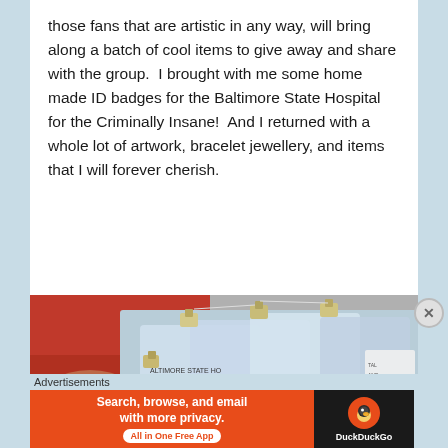those fans that are artistic in any way, will bring along a batch of cool items to give away and share with the group.  I brought with me some home made ID badges for the Baltimore State Hospital for the Criminally Insane!  And I returned with a whole lot of artwork, bracelet jewellery, and items that I will forever cherish.
[Figure (photo): Close-up photo of homemade ID badges for the Baltimore State Hospital for the Criminally Insane (BSHCI), with plastic badge clips, on a red background. Text visible includes 'BHCI', 'BSHO', 'ALTIMORE STATE HO', 'THE CRIMINAL'.]
Advertisements
[Figure (screenshot): DuckDuckGo advertisement banner. Left orange section reads 'Search, browse, and email with more privacy.' and 'All in One Free App'. Right dark section shows the DuckDuckGo logo (duck icon) and name.]